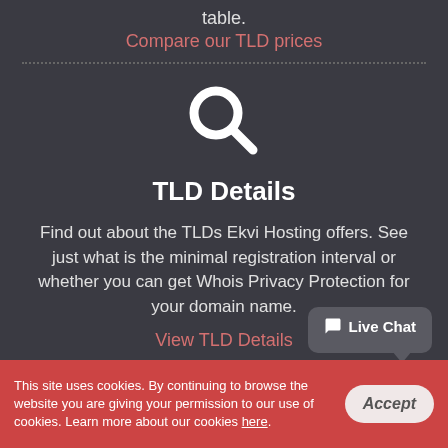table.
Compare our TLD prices
[Figure (illustration): White search/magnifying glass icon]
TLD Details
Find out about the TLDs Ekvi Hosting offers. See just what is the minimal registration interval or whether you can get Whois Privacy Protection for your domain name.
View TLD Details
Live Chat
This site uses cookies. By continuing to browse the website you are giving your permission to our use of cookies. Learn more about our cookies here.